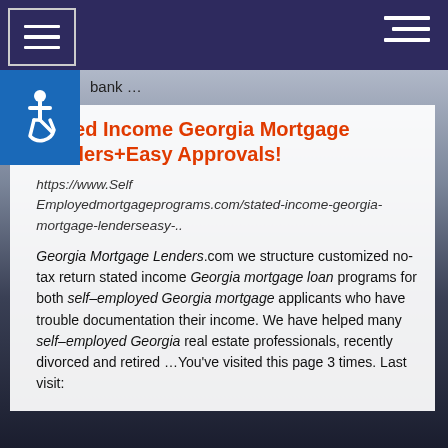bank …
Stated Income Georgia Mortgage Lenders+Easy Approvals!
https://www.Self Employedmortgageprograms.com/stated-income-georgia-mortgage-lenderseasy-..
Georgia Mortgage Lenders.com we structure customized no-tax return stated income Georgia mortgage loan programs for both self–employed Georgia mortgage applicants who have trouble documentation their income. We have helped many self–employed Georgia real estate professionals, recently divorced and retired …You've visited this page 3 times. Last visit: